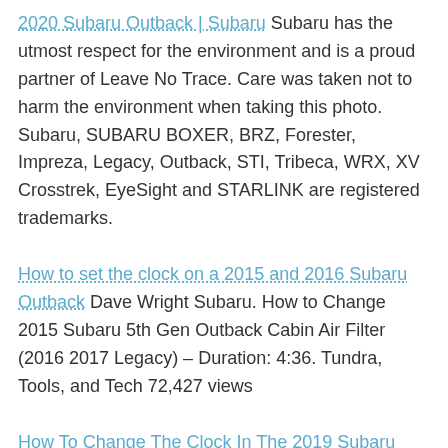2020 Subaru Outback | Subaru Subaru has the utmost respect for the environment and is a proud partner of Leave No Trace. Care was taken not to harm the environment when taking this photo. Subaru, SUBARU BOXER, BRZ, Forester, Impreza, Legacy, Outback, STI, Tribeca, WRX, XV Crosstrek, EyeSight and STARLINK are registered trademarks.
How to set the clock on a 2015 and 2016 Subaru Outback Dave Wright Subaru. How to Change 2015 Subaru 5th Gen Outback Cabin Air Filter (2016 2017 Legacy) – Duration: 4:36. Tundra, Tools, and Tech 72,427 views
How To Change The Clock In The 2019 Subaru